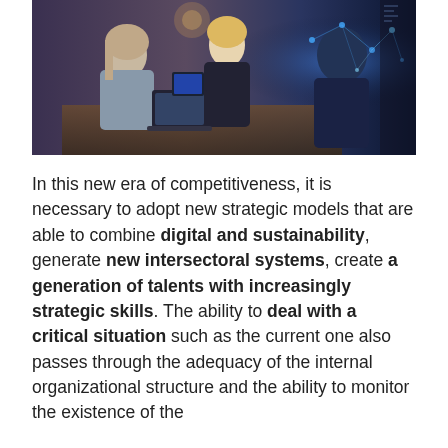[Figure (photo): Photo of people at a hotel or business reception desk, one person using a tablet, with a digital network overlay effect on the right side.]
In this new era of competitiveness, it is necessary to adopt new strategic models that are able to combine digital and sustainability, generate new intersectoral systems, create a generation of talents with increasingly strategic skills. The ability to deal with a critical situation such as the current one also passes through the adequacy of the internal organizational structure and the ability to monitor the existence of the